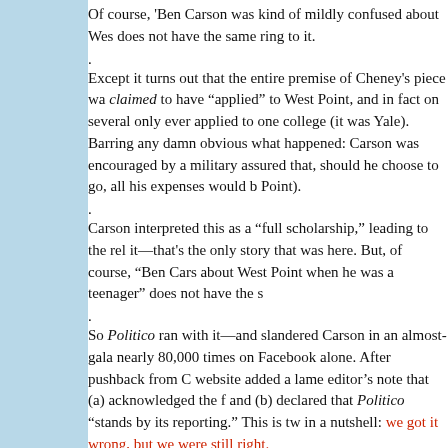Of course, 'Ben Carson was kind of mildly confused about Wes does not have the same ring to it.
Except it turns out that the entire premise of Cheney's piece wa claimed to have “applied” to West Point, and in fact on several only ever applied to one college (it was Yale). Barring any damn obvious what happened: Carson was encouraged by a military assured that, should he choose to go, all his expenses would b Point).
Carson interpreted this as a “full scholarship,” leading to the rel it—that's the only story that was here. But, of course, “Ben Cars about West Point when he was a teenager” does not have the s
So Politico ran with it—and slandered Carson in an almost-gala nearly 80,000 times on Facebook alone. After pushback from C website added a lame editor’s note that (a) acknowledged the f and (b) declared that Politico “stands by its reporting.” This is tw in a nutshell: we got it wrong, but we were still right.
That Wasn’t the Only Thing
Elsewhere, a new accusation was hurled Carson’s way: there w his youth—in which he tried to stab someone in a fit of anger a result—was also fabricated. As it turns out, this story, too, seem